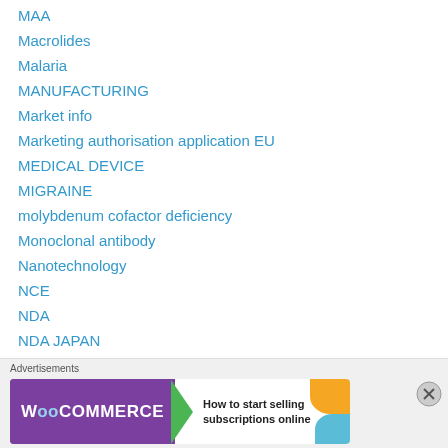MAA
Macrolides
Malaria
MANUFACTURING
Market info
Marketing authorisation application EU
MEDICAL DEVICE
MIGRAINE
molybdenum cofactor deficiency
Monoclonal antibody
Nanotechnology
NCE
NDA
NDA JAPAN
neuropathic pain
Neutraceuticals
Advertisements